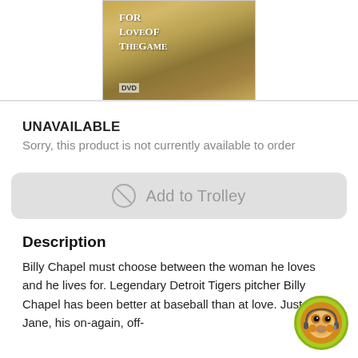[Figure (photo): DVD cover of 'For Love of the Game' showing golden autumn tones with text overlaid]
UNAVAILABLE
Sorry, this product is not currently available to order
Add to Trolley
Description
Billy Chapel must choose between the woman he loves and he lives for. Legendary Detroit Tigers pitcher Billy Chapel has been better at baseball than at love. Just ask Jane, his on-again, off-